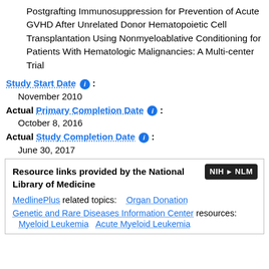Postgrafting Immunosuppression for Prevention of Acute GVHD After Unrelated Donor Hematopoietic Cell Transplantation Using Nonmyeloablative Conditioning for Patients With Hematologic Malignancies: A Multi-center Trial
Study Start Date :
November 2010
Actual Primary Completion Date :
October 8, 2016
Actual Study Completion Date :
June 30, 2017
Resource links provided by the National Library of Medicine
MedlinePlus related topics: Organ Donation
Genetic and Rare Diseases Information Center resources: Myeloid Leukemia Acute Myeloid Leukemia